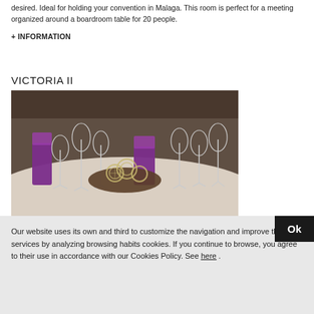desired. Ideal for holding your convention in Malaga. This room is perfect for a meeting organized around a boardroom table for 20 people.
+ INFORMATION
VICTORIA II
[Figure (photo): Table setting with wine glasses, purple decorative items, and a centerpiece with decorative orbs on a round wooden tray.]
Pl...  Configuration... holding up to 20... people in the...
Our website uses its own and third to customize the navigation and improve their services by analyzing browsing habits cookies. If you continue to browse, you agree to their use in accordance with our Cookies Policy. See here .